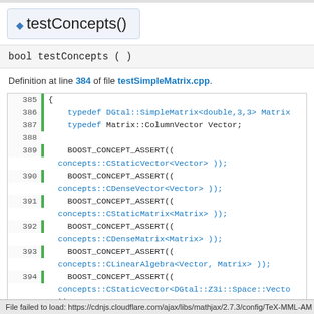testConcepts()
bool testConcepts ( )
Definition at line 384 of file testSimpleMatrix.cpp.
[Figure (screenshot): Code block showing lines 385-395 of testSimpleMatrix.cpp with BOOST_CONCEPT_ASSERT calls for CStaticVector, CDenseVector, CStaticMatrix, CDenseMatrix, CLinearAlgebra, and CStaticVector<DGtal::Z3i::Space::Vector>]
File failed to load: https://cdnjs.cloudflare.com/ajax/libs/mathjax/2.7.3/config/TeX-MML-AM